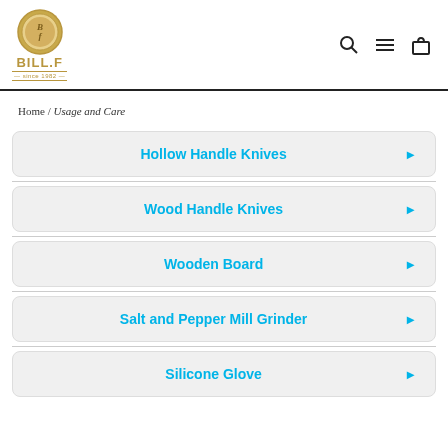[Figure (logo): BILL.F logo with circular emblem and gold text, since 1982]
Home / Usage and Care
Hollow Handle Knives
Wood Handle Knives
Wooden Board
Salt and Pepper Mill Grinder
Silicone Glove